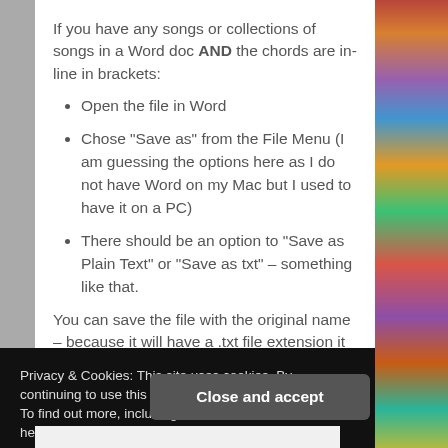If you have any songs or collections of songs in a Word doc AND the chords are in-line in brackets:
Open the file in Word
Chose “Save as” from the File Menu (I am guessing the options here as I do not have Word on my Mac but I used to have it on a PC)
There should be an option to “Save as Plain Text” or “Save as txt” – something like that.
You can save the file with the original name – because it will have a .txt file extension it will not over-write your
Privacy & Cookies: This site uses cookies. By continuing to use this website, you agree to their use.
To find out more, including how to control cookies, see here: The Usual Cookie Stuff
Close and accept